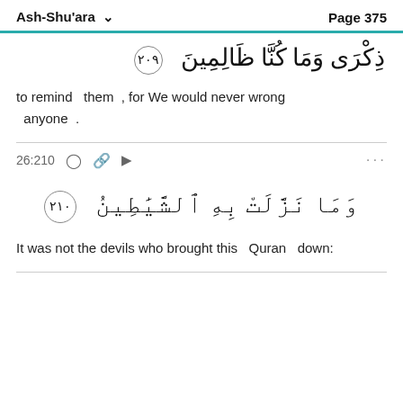Ash-Shu'ara   Page 375
[Figure (other): Arabic Quranic text with verse number medallion, right-to-left: ذِكرَىٰ وَمَا كُنَّا ظَٰلِمِينَ]
to remind   them  , for We would never wrong   anyone  .
26:210  ○  🔗  ▷  ...
[Figure (other): Arabic Quranic text with verse number medallion (٢١٠), right-to-left: وَمَا نَنزَّلَتۡ بِهِ ٱلشَّيَٰطِينُ]
It was not the devils who brought this   Quran   down: